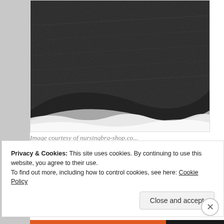[Figure (photo): Close-up photo of dark grey textured fabric/material, cropped showing the upper portion.]
Image courtesy of nursingbra-shop.co...
[Figure (screenshot): WordPress.com advertisement banner with bold text 'Build a better web and a better world.' and a blue 'Apply' button. A circular avatar of a person is partially visible at the right.]
Privacy & Cookies: This site uses cookies. By continuing to use this website, you agree to their use.
To find out more, including how to control cookies, see here: Cookie Policy
Close and accept